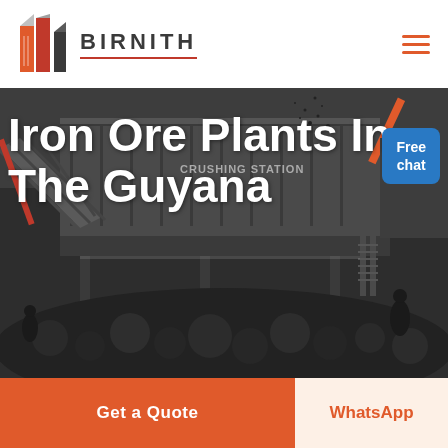BIRNITH
[Figure (photo): Industrial crushing station with heavy machinery, conveyor belts, and a large pile of crushed rocks/coal. Dark industrial scene with text 'CRUSHING STATION' visible on the equipment.]
Iron Ore Plants In The Guyana
Free chat
Get a Quote
WhatsApp